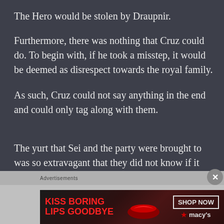The Hero would be stolen by Draupnir.
Furthermore, there was nothing that Cruz could do. To begin with, if he took a misstep, it would be deemed as disrespect towards the royal family.
As such, Cruz could not say anything in the end and could only tag along with them.
The yurt that Sei and the party were brought to was so extravagant that they did not know if it could still be called a yurt.
[Figure (screenshot): Advertisement banner for Macy's lip products with text 'KISS BORING LIPS GOODBYE' and 'SHOP NOW' button with Macy's logo]